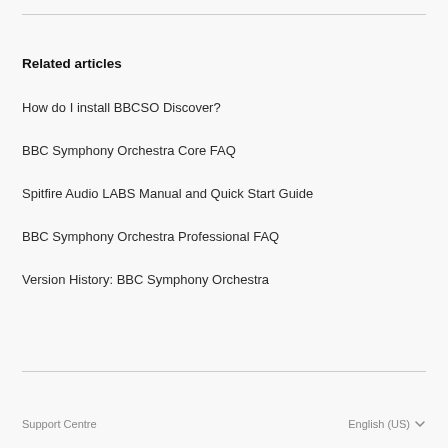Related articles
How do I install BBCSO Discover?
BBC Symphony Orchestra Core FAQ
Spitfire Audio LABS Manual and Quick Start Guide
BBC Symphony Orchestra Professional FAQ
Version History: BBC Symphony Orchestra
Support Centre    English (US)